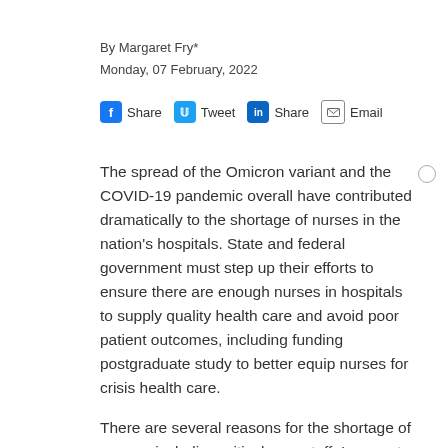By Margaret Fry*
Monday, 07 February, 2022
Share  Tweet  Share  Email
The spread of the Omicron variant and the COVID-19 pandemic overall have contributed dramatically to the shortage of nurses in the nation's hospitals. State and federal government must step up their efforts to ensure there are enough nurses in hospitals to supply quality health care and avoid poor patient outcomes, including funding postgraduate study to better equip nurses for crisis health care.
There are several reasons for the shortage of nurses, including critical care staff. In recent times, as the Omicron variant has infected greater and greater numbers of Australians, more people are